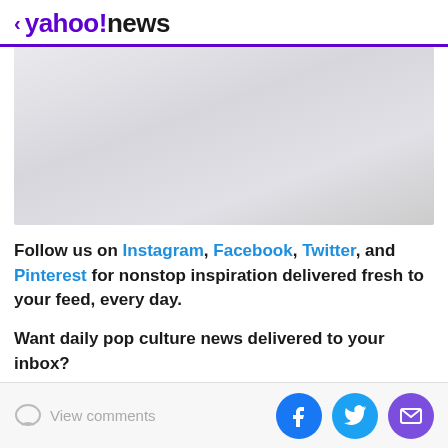< yahoo!news
[Figure (photo): Light gray placeholder image area with gradient background]
Follow us on Instagram, Facebook, Twitter, and Pinterest for nonstop inspiration delivered fresh to your feed, every day.
Want daily pop culture news delivered to your inbox?
View comments | Facebook | Twitter | Mail